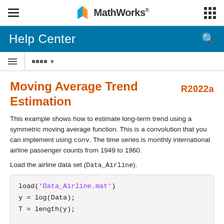MathWorks Help Center
Moving Average Trend Estimation
This example shows how to estimate long-term trend using a symmetric moving average function. This is a convolution that you can implement using conv. The time series is monthly international airline passenger counts from 1949 to 1960.
Load the airline data set (Data_Airline).
load('Data_Airline.mat')
y = log(Data);
T = length(y);

figure
plot(y)